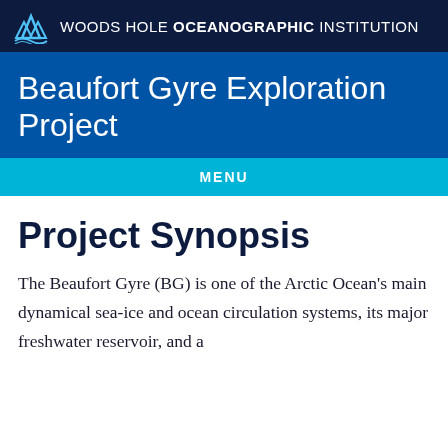WOODS HOLE OCEANOGRAPHIC INSTITUTION
Beaufort Gyre Exploration Project
Project Synopsis
The Beaufort Gyre (BG) is one of the Arctic Ocean's main dynamical sea-ice and ocean circulation systems, its major freshwater reservoir, and a